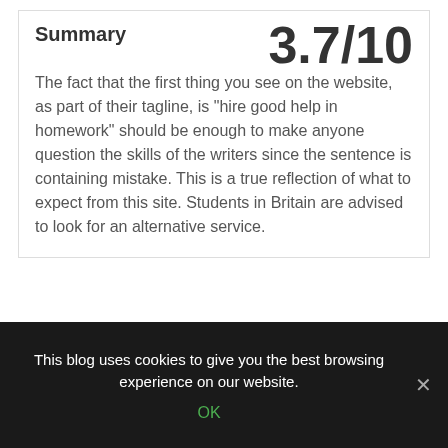Summary
3.7/10
The fact that the first thing you see on the website, as part of their tagline, is "hire good help in homework" should be enough to make anyone question the skills of the writers since the sentence is containing mistake. This is a true reflection of what to expect from this site. Students in Britain are advised to look for an alternative service.
← Ukwritingexperts.co.uk review
This blog uses cookies to give you the best browsing experience on our website.
OK